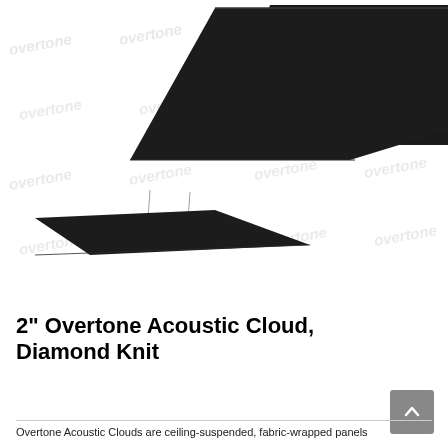[Figure (photo): Two black fabric-wrapped diamond/parallelogram shaped acoustic ceiling cloud panels on a white background. The larger panel appears in the upper portion at an angle, and a smaller panel is suspended below center-left with visible hanging wires. Watermark text 'overtone' repeated across the image.]
2" Overtone Acoustic Cloud, Diamond Knit
Overtone Acoustic Clouds are ceiling-suspended, fabric-wrapped panels